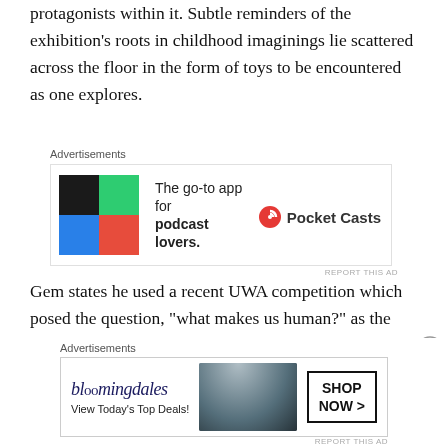protagonists within it. Subtle reminders of the exhibition's roots in childhood imaginings lie scattered across the floor in the form of toys to be encountered as one explores.
[Figure (other): Advertisement banner for Pocket Casts app: colorful grid icon on left, text 'The go-to app for podcast lovers.' with Pocket Casts logo on right]
Gem states he used a recent UWA competition which posed the question, “what makes us human?” as the inspiration for the piece. While he did not participate in that competition, it did give him pause for thought as to what his answer might have been, had he done so. This led him to consider the power of imaginative
[Figure (other): Advertisement banner for Bloomingdale's: 'View Today’s Top Deals!' with woman in hat image and 'SHOP NOW >' button]